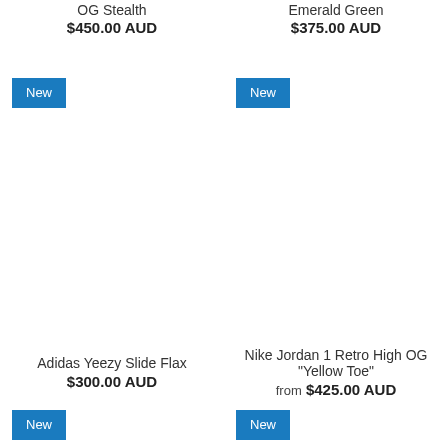OG Stealth
$450.00 AUD
Emerald Green
$375.00 AUD
New
[Figure (photo): Product image area for Adidas Yeezy Slide Flax (blank/white)]
New
[Figure (photo): Product image area for Nike Jordan 1 Retro High OG Yellow Toe (blank/white)]
Adidas Yeezy Slide Flax
$300.00 AUD
Nike Jordan 1 Retro High OG "Yellow Toe"
from $425.00 AUD
New
New